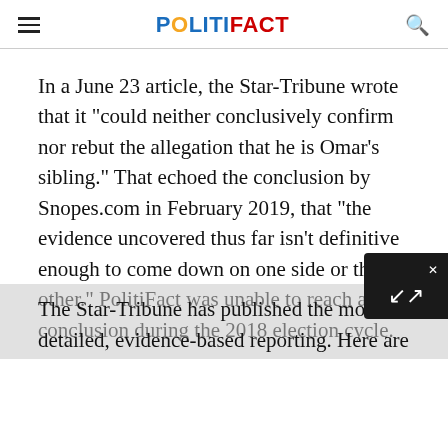POLITIFACT
In a June 23 article, the Star-Tribune wrote that it "could neither conclusively confirm nor rebut the allegation that he is Omar’s sibling." That echoed the conclusion by Snopes.com in February 2019, that "the evidence uncovered thus far isn’t definitive enough to come down on one side or the other." PolitiFact was unable to reach a conclusion during the 2018 election cycle.
The Star-Tribune has published the most detailed, evidence-based reporting. Here are